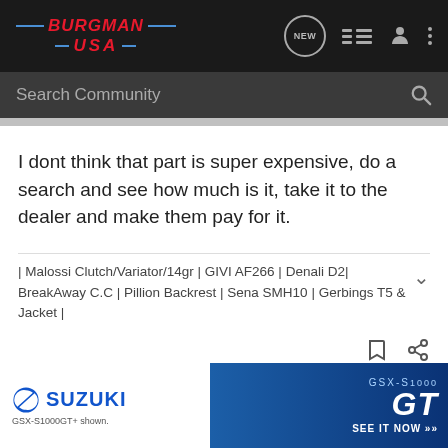BURGMAN USA
Search Community
I dont think that part is super expensive, do a search and see how much is it, take it to the dealer and make them pay for it.
| Malossi Clutch/Variator/14gr | GIVI AF266 | Denali D2| BreakAway C.C | Pillion Backrest | Sena SMH10 | Gerbings T5 & Jacket |
goldielocks · Registered
[Figure (photo): Suzuki GSX-S1000GT advertisement banner]